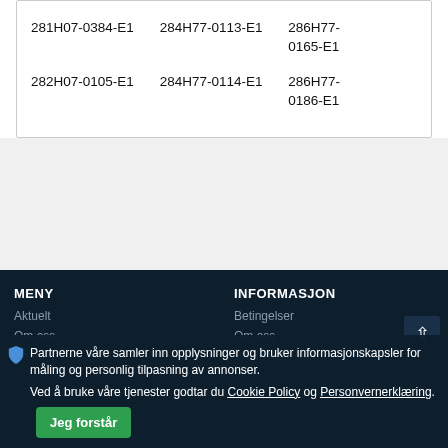281H07-0384-E1   284H77-0113-E1   286H77-0165-E1
282H07-0105-E1   284H77-0114-E1   286H77-0186-E1
MENY   INFORMASJON   Aktuelt   Betingelser   Om oss   Om oss   Kontakt
Partnerne våre samler inn opplysninger og bruker informasjonskapsler for måling og personlig tilpasning av annonser. Ved å bruke våre tjenester godtar du Cookie Policy og Personvernerklæring.
Jeg forstår